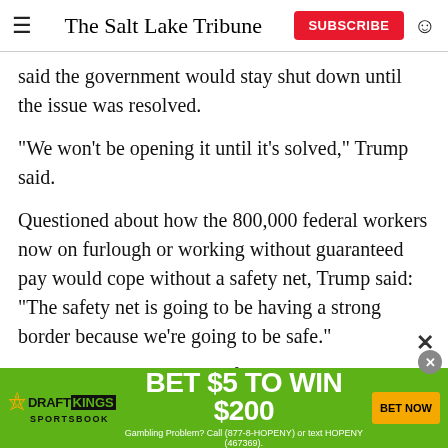The Salt Lake Tribune
said the government would stay shut down until the issue was resolved.
"We won't be opening it until it's solved," Trump said.
Questioned about how the 800,000 federal workers now on furlough or working without guaranteed pay would cope without a safety net, Trump said: "The safety net is going to be having a strong border because we're going to be safe."
Trump insisted that most of the workers impacted are
[Figure (infographic): DraftKings Sportsbook advertisement banner: BET $5 TO WIN $200, with BET NOW button. Gambling Problem? Call (877-8-HOPENY) or text HOPENY (467369).]